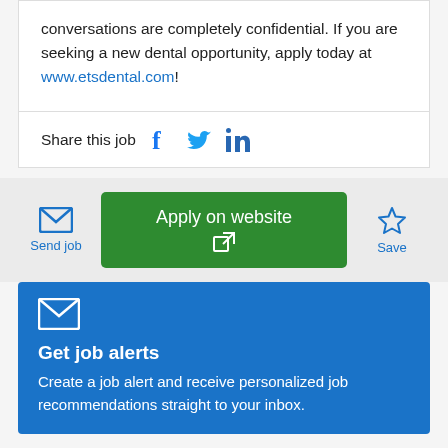conversations are completely confidential. If you are seeking a new dental opportunity, apply today at www.etsdental.com!
Share this job
Apply on website
Send job
Save
Get job alerts
Create a job alert and receive personalized job recommendations straight to your inbox.